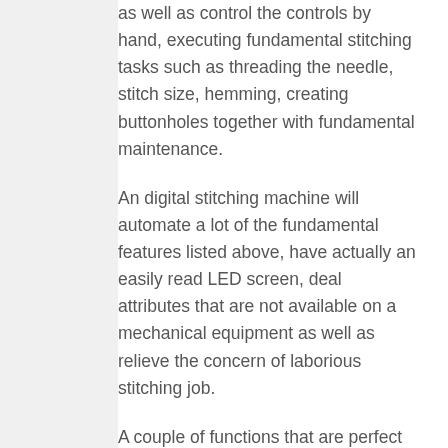as well as control the controls by hand, executing fundamental stitching tasks such as threading the needle, stitch size, hemming, creating buttonholes together with fundamental maintenance.
An digital stitching machine will automate a lot of the fundamental features listed above, have actually an easily read LED screen, deal attributes that are not available on a mechanical equipment as well as relieve the concern of laborious stitching job.
A couple of functions that are perfect are built-in lights to aid with stitching darker items and for sewing in the evening, a totally free arm for hemming, cuff stitching and also sleeves, blind sewing, buttonhole